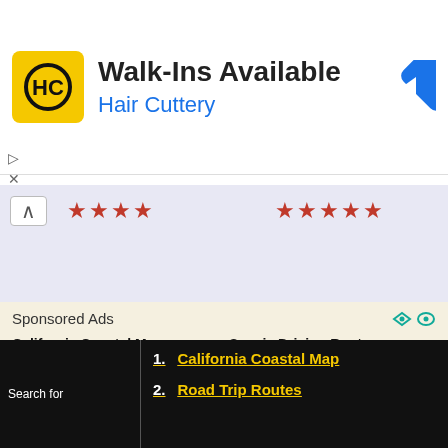[Figure (screenshot): Hair Cuttery advertisement banner with yellow logo, Walk-Ins Available text, and blue direction arrow icon]
[Figure (infographic): Star ratings row with chevron, 4-star and 5-star ratings on light purple background]
Sponsored Ads
California Coastal Map
Scenic Driving Routes
Road Trip Routes
10 California Coastal Towns
Back to Top
Arizona | California | Colorado | Idaho | Nevada | New Mexico | Oregon | Texas | Utah | Wyoming | Slot Canyons | Travelogue | SOUTHWEST
California Coastal Map
Road Trip Routes
Search for